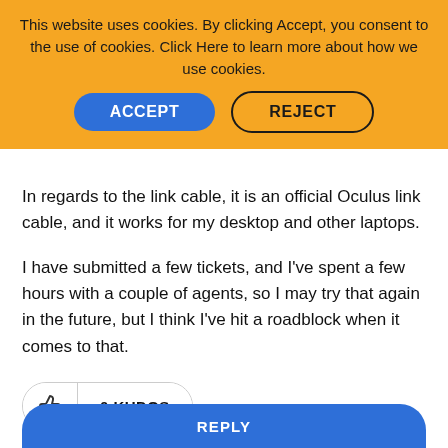[Figure (screenshot): Cookie consent banner with orange background. Text reads: 'This website uses cookies. By clicking Accept, you consent to the use of cookies. Click Here to learn more about how we use cookies.' Two buttons: ACCEPT (blue rounded) and REJECT (outlined rounded).]
In regards to the link cable, it is an official Oculus link cable, and it works for my desktop and other laptops.
I have submitted a few tickets, and I've spent a few hours with a couple of agents, so I may try that again in the future, but I think I've hit a roadblock when it comes to that.
[Figure (screenshot): 0 KUDOS button with thumbs up icon, outlined rounded button]
[Figure (screenshot): SHARE button, outlined rounded button]
[Figure (screenshot): REPLY button, blue rounded button partially visible at bottom]